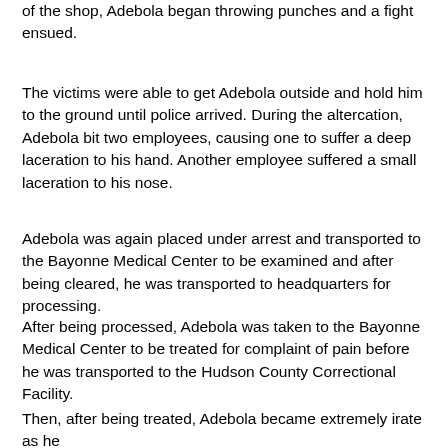of the shop, Adebola began throwing punches and a fight ensued.
The victims were able to get Adebola outside and hold him to the ground until police arrived. During the altercation, Adebola bit two employees, causing one to suffer a deep laceration to his hand. Another employee suffered a small laceration to his nose.
Adebola was again placed under arrest and transported to the Bayonne Medical Center to be examined and after being cleared, he was transported to headquarters for processing.
After being processed, Adebola was taken to the Bayonne Medical Center to be treated for complaint of pain before he was transported to the Hudson County Correctional Facility.
Then, after being treated, Adebola became extremely irate as he